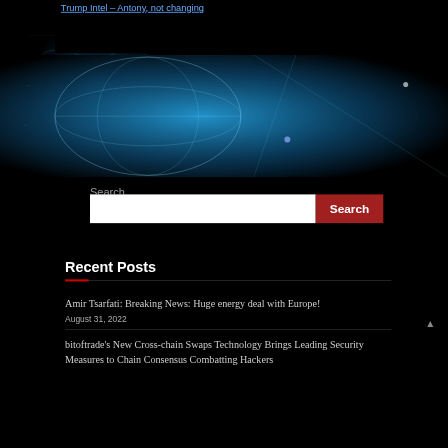[Figure (illustration): Dark background with blue glowing globe/network diagram with white orbital lines and nodes on a black background, spanning the full page.]
Search
Search (input field with red Search button)
Recent Posts
Amir Tsarfati: Breaking News: Huge energy deal with Europe!
August 31, 2022
bitoftrade's New Cross-chain Swaps Technology Brings Leading Security Measures to Chain Consensus Combatting Hackers